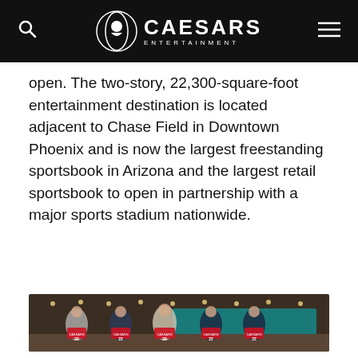Caesars Entertainment
open. The two-story, 22,300-square-foot entertainment destination is located adjacent to Chase Field in Downtown Phoenix and is now the largest freestanding sportsbook in Arizona and the largest retail sportsbook to open in partnership with a major sports stadium nationwide.
[Figure (photo): Five men posing and holding red Caesars 22 baseball jerseys inside a modern sportsbook venue with screens and bar area visible in the background.]